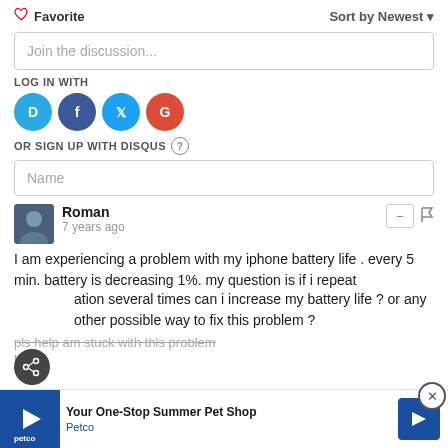♡ Favorite
Sort by Newest ▾
Join the discussion...
LOG IN WITH
[Figure (infographic): Social login icons: Disqus (blue D), Facebook (dark blue f), Twitter (light blue bird), Google (red G)]
OR SIGN UP WITH DISQUS (?)
Name
Roman
7 years ago
I am experiencing a problem with my iphone battery life . every 5 min. battery is decreasing 1%. my question is if i repeat ation several times can i increase my battery life ? or any other possible way to fix this problem ?
pls help am stuck with this problem
tnx . ^
[Figure (infographic): Petco advertisement banner: Your One-Stop Summer Pet Shop, Petco logo with navigation icon]